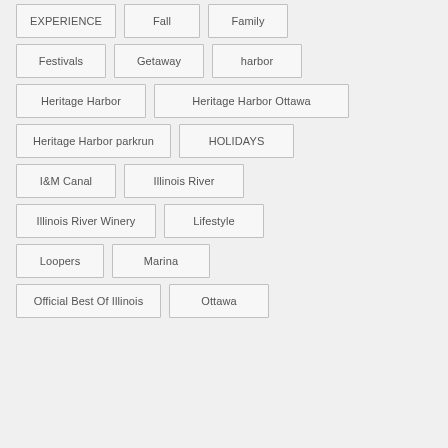EXPERIENCE
Fall
Family
Festivals
Getaway
harbor
Heritage Harbor
Heritage Harbor Ottawa
Heritage Harbor parkrun
HOLIDAYS
I&M Canal
Illinois River
Illinois River Winery
Lifestyle
Loopers
Marina
Official Best Of Illinois
Ottawa